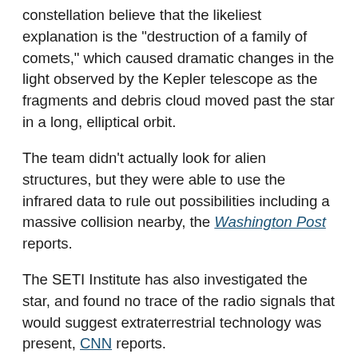constellation believe that the likeliest explanation is the "destruction of a family of comets," which caused dramatic changes in the light observed by the Kepler telescope as the fragments and debris cloud moved past the star in a long, elliptical orbit.
The team didn't actually look for alien structures, but they were able to use the infrared data to rule out possibilities including a massive collision nearby, the Washington Post reports.
The SETI Institute has also investigated the star, and found no trace of the radio signals that would suggest extraterrestrial technology was present, CNN reports.
But even without aliens, nothing like what is happening around KIC 8462852 has ever been seen before and